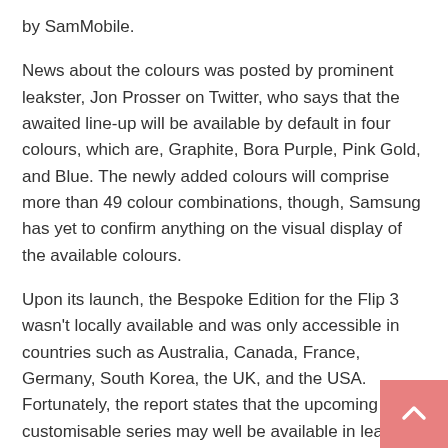by SamMobile.
News about the colours was posted by prominent leakster, Jon Prosser on Twitter, who says that the awaited line-up will be available by default in four colours, which are, Graphite, Bora Purple, Pink Gold, and Blue. The newly added colours will comprise more than 49 colour combinations, though, Samsung has yet to confirm anything on the visual display of the available colours.
Upon its launch, the Bespoke Edition for the Flip 3 wasn't locally available and was only accessible in countries such as Australia, Canada, France, Germany, South Korea, the UK, and the USA. Fortunately, the report states that the upcoming customisable series may well be available in leading markets across Europe and Asia, so, there's still hope for locals who have their eye on the product.